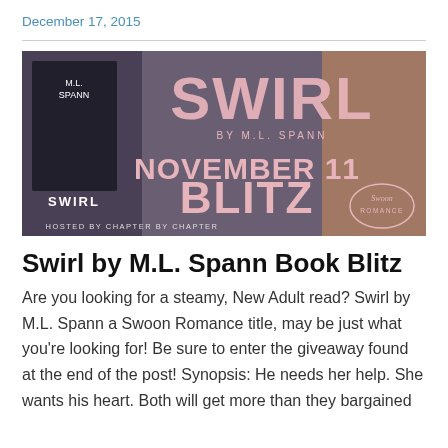December 17, 2015
[Figure (illustration): Book blitz banner for 'Swirl' by M.L. Spann. Shows a book cover on left with a man's torso, large pink text reading 'SWIRL' and 'NOVEMBER 11 BLITZ' on a dark purple/grey background. Text also reads 'BY M.L. SPANN' and 'HOSTED BY CHAPTER BY CHAPTER'. Swoon Romance logo in bottom right.]
Swirl by M.L. Spann Book Blitz
Are you looking for a steamy, New Adult read? Swirl by M.L. Spann a Swoon Romance title, may be just what you're looking for! Be sure to enter the giveaway found at the end of the post! Synopsis: He needs her help. She wants his heart. Both will get more than they bargained